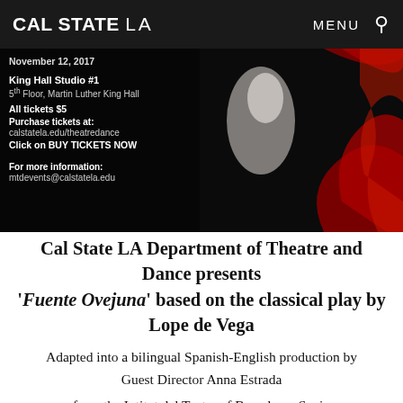CAL STATE LA | MENU 🔍
[Figure (photo): Event promotional image with dark background, white draped figure on left text overlay area, and red fabric/curtain dramatic element on right side. Text overlay reads: November 12, 2017 / King Hall Studio #1 / 5th Floor, Martin Luther King Hall / All tickets $5 / Purchase tickets at: calstatela.edu/theatredance / Click on BUY TICKETS NOW / For more information: mtdevents@calstatela.edu]
Cal State LA Department of Theatre and Dance presents 'Fuente Ovejuna' based on the classical play by Lope de Vega
Adapted into a bilingual Spanish-English production by Guest Director Anna Estrada
from the Intitut del Teatre of Barcelona, Spain